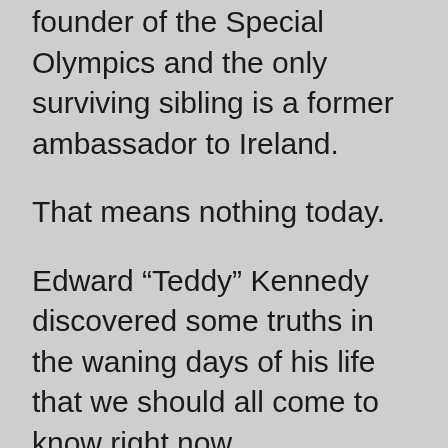founder of the Special Olympics and the only surviving sibling is a former ambassador to Ireland.
That means nothing today.
Edward “Teddy” Kennedy discovered some truths in the waning days of his life that we should all come to know right now.
Death Comes for All